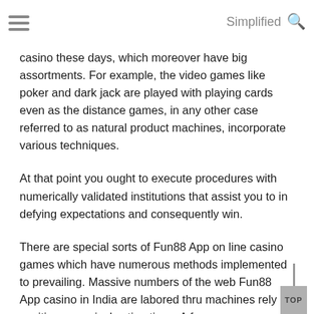Simplified
casino these days, which moreover have big assortments. For example, the video games like poker and dark jack are played with playing cards even as the distance games, in any other case referred to as natural product machines, incorporate various techniques.
At that point you ought to execute procedures with numerically validated institutions that assist you to in defying expectations and consequently win.
There are special sorts of Fun88 App on line casino games which have numerous methods implemented to prevailing. Massive numbers of the web Fun88 App casino in India are labored thru machines rely on positive numerical estimations. A few games are likewise based on right judgment and alertness of structures.